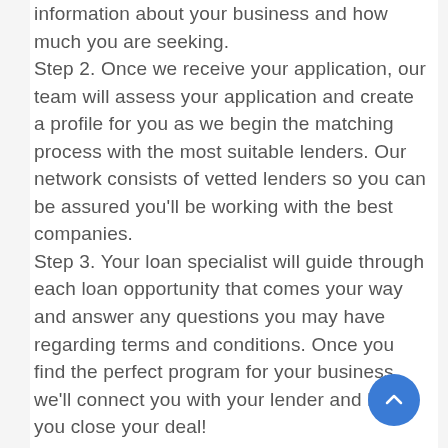information about your business and how much you are seeking. Step 2. Once we receive your application, our team will assess your application and create a profile for you as we begin the matching process with the most suitable lenders. Our network consists of vetted lenders so you can be assured you'll be working with the best companies. Step 3. Your loan specialist will guide through each loan opportunity that comes your way and answer any questions you may have regarding terms and conditions. Once you find the perfect program for your business, we'll connect you with your lender and help you close your deal!